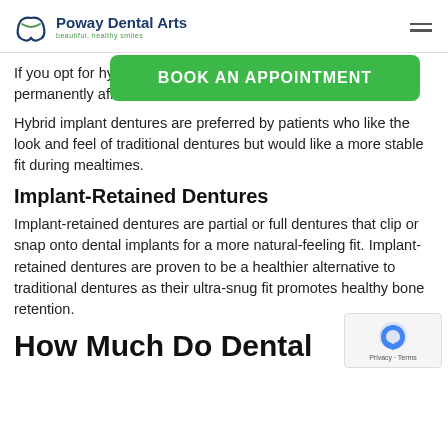Poway Dental Arts — beautiful, healthy smiles
[Figure (other): Green 'BOOK AN APPOINTMENT' button overlay]
If you opt for hybrid implant dentures, they are permanently affixed to implants. Hybrid implant dentures are preferred by patients who like the look and feel of traditional dentures but would like a more stable fit during mealtimes.
Implant-Retained Dentures
Implant-retained dentures are partial or full dentures that clip or snap onto dental implants for a more natural-feeling fit. Implant-retained dentures are proven to be a healthier alternative to traditional dentures as their ultra-snug fit promotes healthy bone retention.
How Much Do Dental